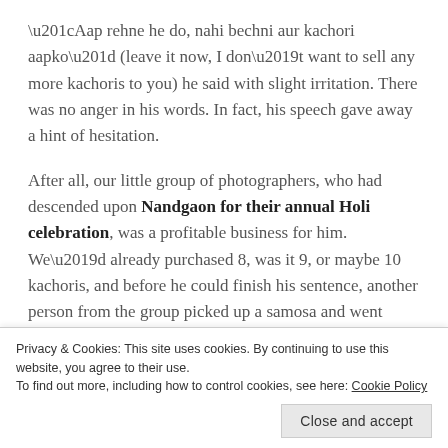“Aap rehne he do, nahi bechni aur kachori aapko” (leave it now, I don’t want to sell any more kachoris to you) he said with slight irritation. There was no anger in his words. In fact, his speech gave away a hint of hesitation.
After all, our little group of photographers, who had descended upon Nandgaon for their annual Holi celebration, was a profitable business for him. We’d already purchased 8, was it 9, or maybe 10 kachoris, and before he could finish his sentence, another person from the group picked up a samosa and went away saying “ek aur add karlena” (add one more).
Privacy & Cookies: This site uses cookies. By continuing to use this website, you agree to their use.
To find out more, including how to control cookies, see here: Cookie Policy
Close and accept